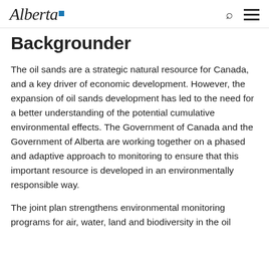Alberta [logo] | Search | Menu
Backgrounder
The oil sands are a strategic natural resource for Canada, and a key driver of economic development. However, the expansion of oil sands development has led to the need for a better understanding of the potential cumulative environmental effects. The Government of Canada and the Government of Alberta are working together on a phased and adaptive approach to monitoring to ensure that this important resource is developed in an environmentally responsible way.
The joint plan strengthens environmental monitoring programs for air, water, land and biodiversity in the oil